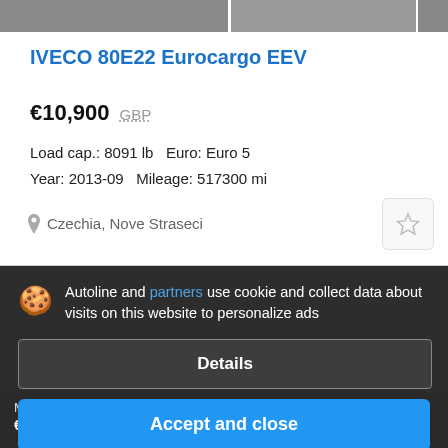[Figure (photo): Two vehicle photos side by side at top of listing]
IVECO 80E22 Eurocargo EEV
€10,900  GBP
Load cap.: 8091 lb  Euro: Euro 5
Year: 2013-09  Mileage: 517300 mi
Czechia, Nove Straseci
Autoline and partners use cookie and collect data about visits on this website to personalize ads
Details
Accept and close
M...
€7,950